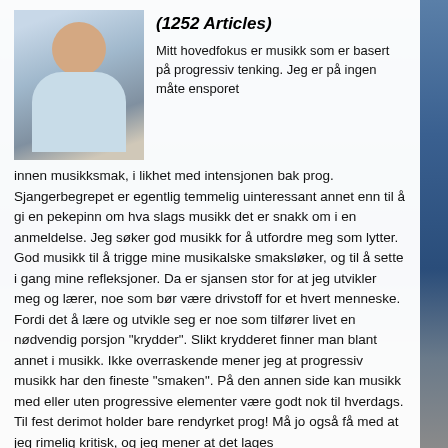[Figure (photo): Portrait photo of a man wearing a light blue shirt, outdoors or near a building background]
(1252 Articles)
Mitt hovedfokus er musikk som er basert på progressiv tenking. Jeg er på ingen måte ensporet innen musikksmak, i likhet med intensjonen bak prog. Sjangerbegrepet er egentlig temmelig uinteressant annet enn til å gi en pekepinn om hva slags musikk det er snakk om i en anmeldelse. Jeg søker god musikk for å utfordre meg som lytter. God musikk til å trigge mine musikalske smaksløker, og til å sette i gang mine refleksjoner. Da er sjansen stor for at jeg utvikler meg og lærer, noe som bør være drivstoff for et hvert menneske. Fordi det å lære og utvikle seg er noe som tilfører livet en nødvendig porsjon "krydder". Slikt krydderet finner man blant annet i musikk. Ikke overraskende mener jeg at progressiv musikk har den fineste "smaken". På den annen side kan musikk med eller uten progressive elementer være godt nok til hverdags. Til fest derimot holder bare rendyrket prog! Må jo også få med at jeg rimelig kritisk, og jeg mener at det lages